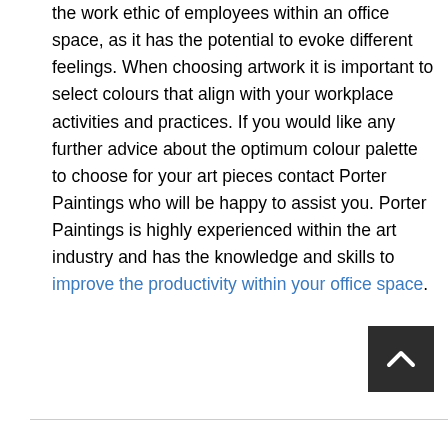the work ethic of employees within an office space, as it has the potential to evoke different feelings. When choosing artwork it is important to select colours that align with your workplace activities and practices. If you would like any further advice about the optimum colour palette to choose for your art pieces contact Porter Paintings who will be happy to assist you. Porter Paintings is highly experienced within the art industry and has the knowledge and skills to improve the productivity within your office space.
[Figure (other): Back to top button - dark grey square button with white chevron/caret pointing upward]